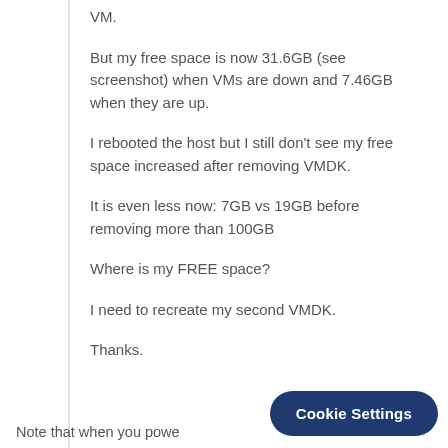VM.
But my free space is now 31.6GB (see screenshot) when VMs are down and 7.46GB when they are up.
I rebooted the host but I still don't see my free space increased after removing VMDK.
It is even less now: 7GB vs 19GB before removing more than 100GB
Where is my FREE space?
I need to recreate my second VMDK.
Thanks.
Note that when you powe...